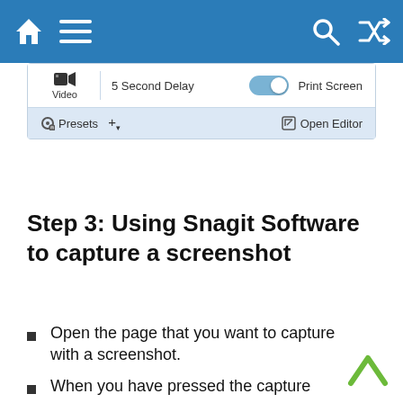[Figure (screenshot): Navigation bar with home, menu, search, and shuffle icons on blue background]
[Figure (screenshot): Snagit software UI panel showing Video option, 5 Second Delay toggle (on), Print Screen button, Presets, and Open Editor]
Step 3: Using Snagit Software to capture a screenshot
Open the page that you want to capture with a screenshot.
When you have pressed the capture